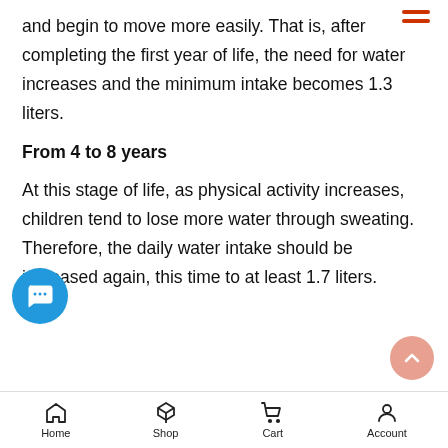and begin to move more easily. That is, after completing the first year of life, the need for water increases and the minimum intake becomes 1.3 liters.
From 4 to 8 years
At this stage of life, as physical activity increases, children tend to lose more water through sweating. Therefore, the daily water intake should be increased again, this time to at least 1.7 liters.
Home  Shop  Cart  Account